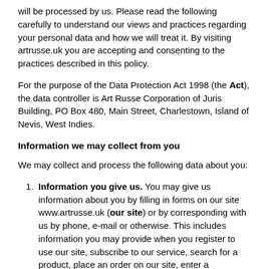will be processed by us. Please read the following carefully to understand our views and practices regarding your personal data and how we will treat it. By visiting artrusse.uk you are accepting and consenting to the practices described in this policy.
For the purpose of the Data Protection Act 1998 (the Act), the data controller is Art Russe Corporation of Juris Building, PO Box 480, Main Street, Charlestown, Island of Nevis, West Indies.
Information we may collect from you
We may collect and process the following data about you:
Information you give us. You may give us information about you by filling in forms on our site www.artrusse.uk (our site) or by corresponding with us by phone, e-mail or otherwise. This includes information you may provide when you register to use our site, subscribe to our service, search for a product, place an order on our site, enter a competition, promotion or survey and when you report a problem with our site. The information you give us may include your name, address, e-mail address and phone number, financial